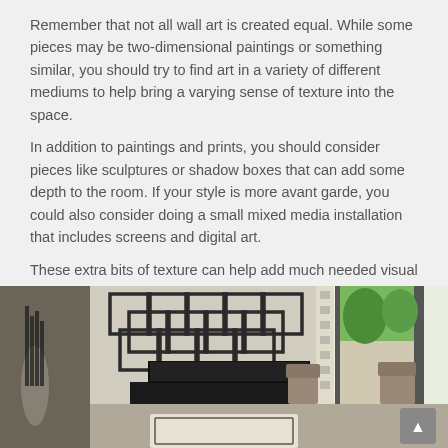Remember that not all wall art is created equal. While some pieces may be two-dimensional paintings or something similar, you should try to find art in a variety of different mediums to help bring a varying sense of texture into the space.
In addition to paintings and prints, you should consider pieces like sculptures or shadow boxes that can add some depth to the room. If your style is more avant garde, you could also consider doing a small mixed media installation that includes screens and digital art.
These extra bits of texture can help add much needed visual weight to your interiors, which which help determine the tone of the room or how it feels. Consider that rough textures are more likely to make a space feel intimate and grounded while smooth textures bring a sleeker more aloof tone to the room.
[Figure (photo): Interior living room photo showing a wall with a geometric square-frame wall art installation above a TV console, a flat-screen TV, chairs, a patterned rug, and sliding glass doors looking out to a patio and backyard with green trees.]